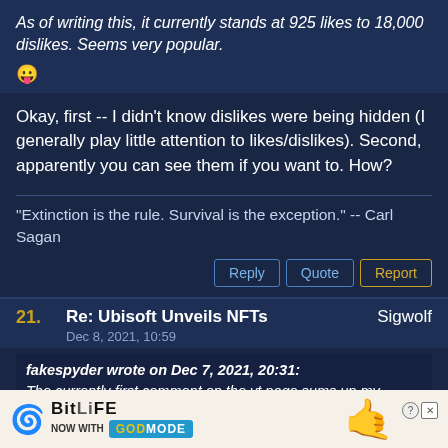As of writing this, it currently stands at 925 likes to 18,000 dislikes. Seems very popular. 😛
Okay, first -- I didn't know dislikes were being hidden (I generally play little attention to likes/dislikes). Second, apparently you can see them if you want to. How?
"Extinction is the rule. Survival is the exception." -- Carl Sagan
Reply | Quote | Report
21. Re: Ubisoft Unveils NFTs   Sigwolf
Dec 8, 2021, 10:59
fakespyder wrote on Dec 7, 2021, 20:31:
The currently first comment on the yt page sums up my feelings concisely:
You are so lucky people can no longer see
[Figure (other): BitLife advertisement banner — BitLife logo with swirl icon, 'NOW WITH GOD MODE' text with teal background, and pointing hand graphic with close/X buttons]